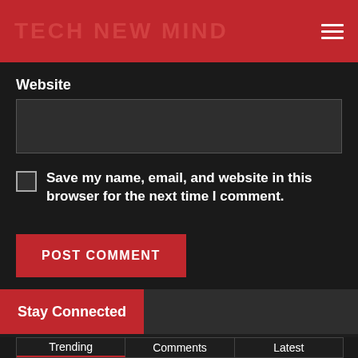TECH NEW MIND
Website
Save my name, email, and website in this browser for the next time I comment.
POST COMMENT
Stay Connected
Trending | Comments | Latest